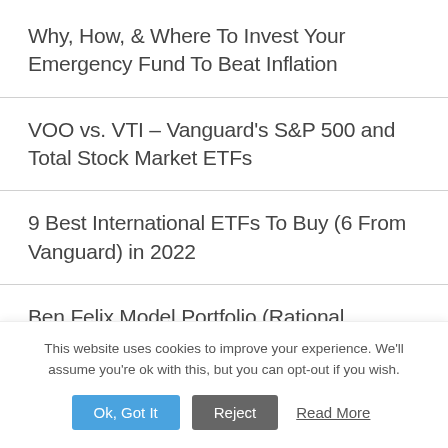Why, How, & Where To Invest Your Emergency Fund To Beat Inflation
VOO vs. VTI – Vanguard's S&P 500 and Total Stock Market ETFs
9 Best International ETFs To Buy (6 From Vanguard) in 2022
Ben Felix Model Portfolio (Rational
This website uses cookies to improve your experience. We'll assume you're ok with this, but you can opt-out if you wish.
Ok, Got It | Reject | Read More